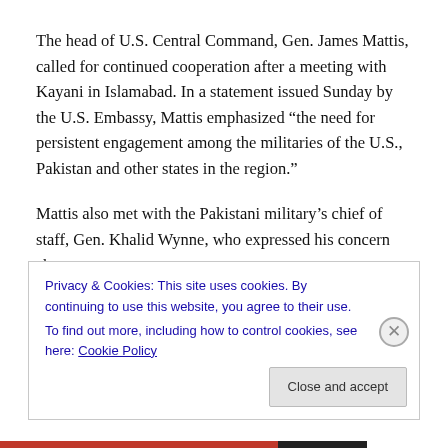The head of U.S. Central Command, Gen. James Mattis, called for continued cooperation after a meeting with Kayani in Islamabad. In a statement issued Sunday by the U.S. Embassy, Mattis emphasized “the need for persistent engagement among the militaries of the U.S., Pakistan and other states in the region.”
Mattis also met with the Pakistani military’s chief of staff, Gen. Khalid Wynne, who expressed his concern about
Privacy & Cookies: This site uses cookies. By continuing to use this website, you agree to their use.
To find out more, including how to control cookies, see here: Cookie Policy